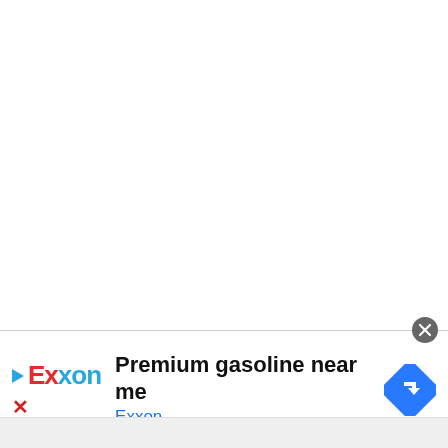[Figure (screenshot): An online advertisement banner for Exxon gasoline. Shows the Exxon logo (play triangle icon + 'Exxon' in red and blue), headline text 'Premium gasoline near me', brand name 'Exxon' in blue, a blue diamond navigation/directions icon on the right, and a close (X) button in a grey circle at top right. A grey bar is at the bottom.]